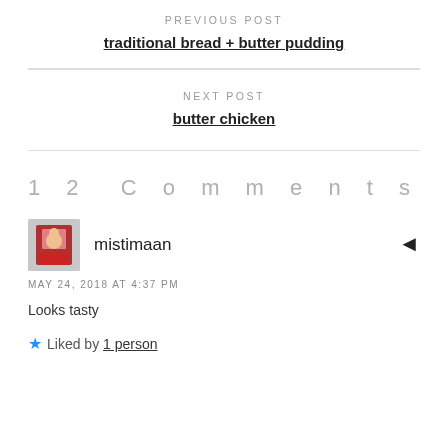PREVIOUS POST
traditional bread + butter pudding
NEXT POST
butter chicken
12 Comments
mistimaan
MAY 24, 2018 AT 4:37 PM
Looks tasty
Liked by 1 person